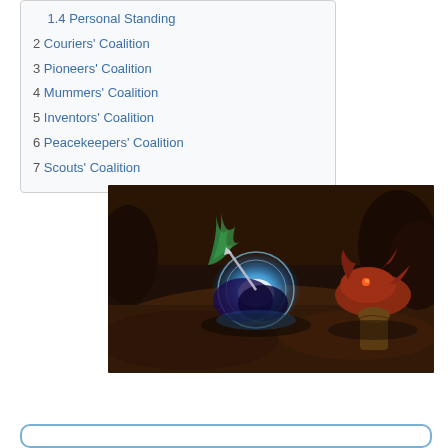1.4 Personal Standing
2 Couriers' Coalition
3 Pioneers' Coalition
4 Mummers' Coalition
5 Inventors' Coalition
6 Peacekeepers' Coalition
7 Scouts' Coalition
[Figure (screenshot): Fantasy game screenshot showing a character with glowing blue magical energy surrounded by creature enemies in a dark outdoor environment with trees and terrain.]